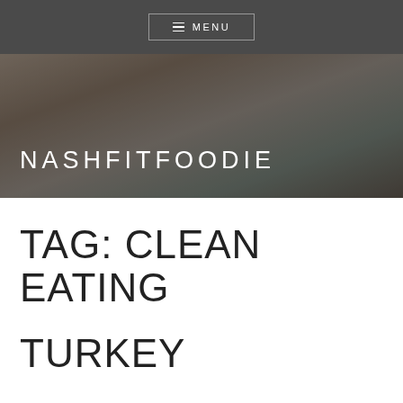≡ MENU
[Figure (photo): Woman with red hair in a kitchen holding food, with NASHFITFOODIE text overlay]
NASHFITFOODIE
TAG: CLEAN EATING
TURKEY